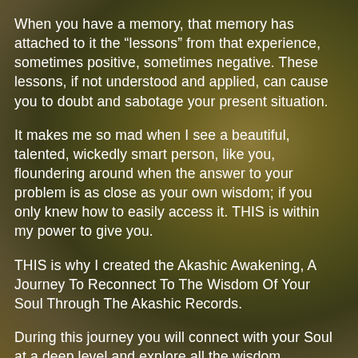When you have a memory, that memory has attached to it the “lessons” from that experience, sometimes positive, sometimes negative. These lessons, if not understood and applied, can cause you to doubt and sabotage your present situation.
It makes me so mad when I see a beautiful, talented, wickedly smart person, like you, floundering around when the answer to your problem is as close as your own wisdom; if you only knew how to easily access it. THIS is within my power to give you.
THIS is why I created the Akashic Awakening, A Journey To Reconnect To The Wisdom Of Your Soul Through The Akashic Records.
During this journey you will connect with your Soul at a deep level and explore all the wisdom